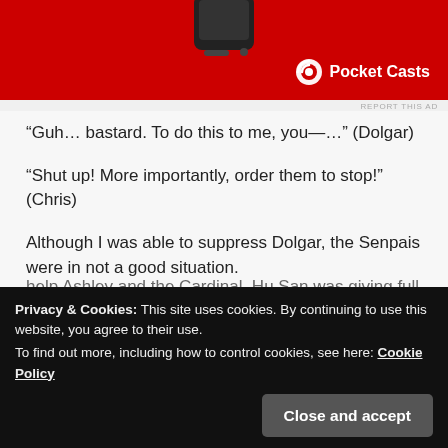[Figure (illustration): Pocket Casts advertisement banner with red background showing a phone device and Pocket Casts logo with white text]
REPORT THIS AD
“Guh… bastard. To do this to me, you—…” (Dolgar)
“Shut up! More importantly, order them to stop!” (Chris)
Although I was able to suppress Dolgar, the Senpais were in not a good situation.
Whether they changed their method of one-on-one, there
help Ashley and the Cardinal, Hu San was giving full attention
Privacy & Cookies: This site uses cookies. By continuing to use this website, you agree to their use.
To find out more, including how to control cookies, see here: Cookie Policy
Close and accept